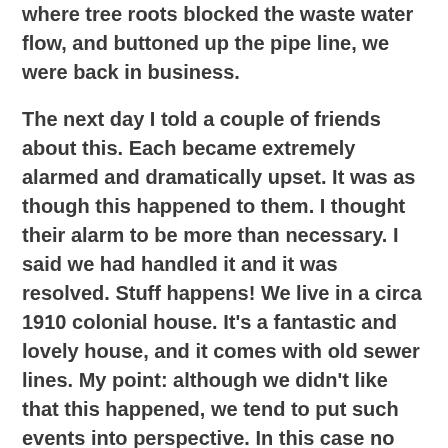where tree roots blocked the waste water flow, and buttoned up the pipe line, we were back in business.
The next day I told a couple of friends about this. Each became extremely alarmed and dramatically upset. It was as though this happened to them. I thought their alarm to be more than necessary. I said we had handled it and it was resolved. Stuff happens! We live in a circa 1910 colonial house. It's a fantastic and lovely house, and it comes with old sewer lines. My point: although we didn't like that this happened, we tend to put such events into perspective. In this case no one got hurt; it could have happened on Thanksgiving, but didn't. We were certainly inconvenienced, but maybe we now had an opportunity to not take our lovely